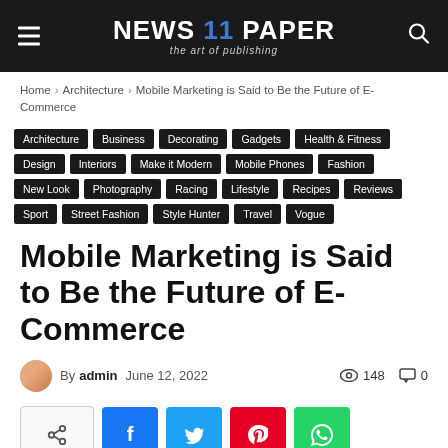NEWS 11 PAPER — the art of publishing
Home › Architecture › Mobile Marketing is Said to Be the Future of E-Commerce
Architecture | Business | Decorating | Gadgets | Health & Fitness | Design | Interiors | Make it Modern | Mobile Phones | Fashion | New Look | Photography | Racing | Lifestyle | Recipes | Reviews | Sport | Street Fashion | Style Hunter | Travel | Vogue
Mobile Marketing is Said to Be the Future of E-Commerce
By admin  June 12, 2022  148 views  0 comments
[Figure (other): Social share buttons: share toggle, Facebook, Twitter, Pinterest, WhatsApp]